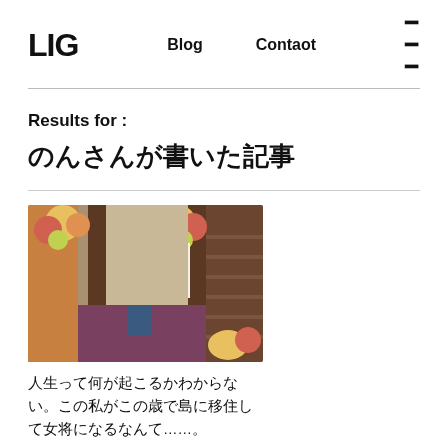LIG  Blog  Contaot  ≡
Results for :
のんさんが書いた記事
[Figure (photo): A person in traditional Japanese clothing seated at the entrance of a Japanese-style building decorated with floral arrangements]
人生って何が起こるかわからない。この私がこの歳で島に移住して女将になるなんて……。
2018.09.06   ♡ 277